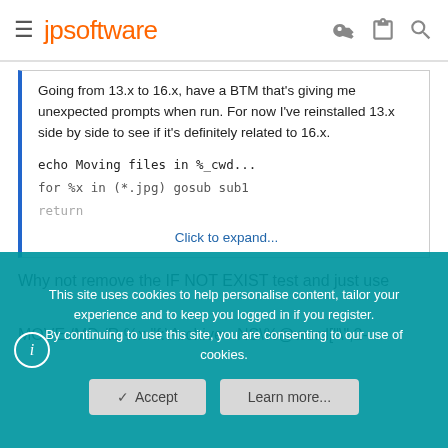jpsoftware
Going from 13.x to 16.x, have a BTM that's giving me unexpected prompts when run. For now I've reinstalled 13.x side by side to see if it's definitely related to 16.x.
echo Moving files in %_cwd...
for %x in (*.jpg) gosub sub1
return
Click to expand...
Why not remove the IF NOT EXIST test and just use
MOVE /MD /R %x "f:\Archive - NS\%@word["\",2-
This site uses cookies to help personalise content, tailor your experience and to keep you logged in if you register.
By continuing to use this site, you are consenting to our use of cookies.
Accept
Learn more...